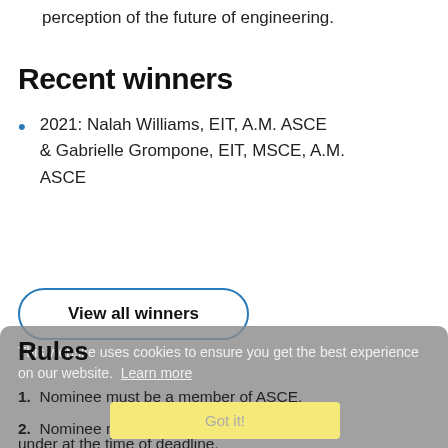perception of the future of engineering.
Recent winners
2021: Nalah Williams, EIT, A.M. ASCE & Gabrielle Grompone, EIT, MSCE, A.M. ASCE
View all winners
Rules
This website uses cookies to ensure you get the best experience on our website. Learn more
1. Nominee must be a member of ASCE.
Got it!
2. Nominee must be 35 years of age or under at the time of deadline.